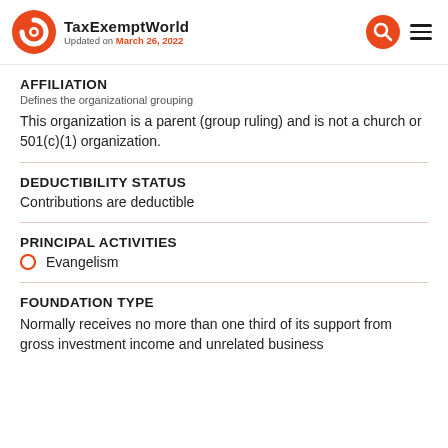TaxExemptWorld — Updated on March 26, 2022
AFFILIATION
Defines the organizational grouping
This organization is a parent (group ruling) and is not a church or 501(c)(1) organization.
DEDUCTIBILITY STATUS
Contributions are deductible
PRINCIPAL ACTIVITIES
Evangelism
FOUNDATION TYPE
Normally receives no more than one third of its support from gross investment income and unrelated business